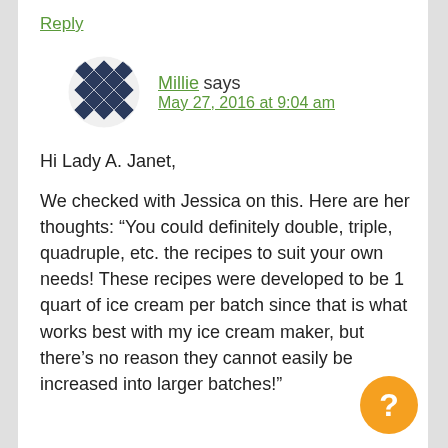Reply
[Figure (illustration): Circular avatar with black and white geometric diamond/chevron pattern]
Millie says
May 27, 2016 at 9:04 am
Hi Lady A. Janet,
We checked with Jessica on this. Here are her thoughts: “You could definitely double, triple, quadruple, etc. the recipes to suit your own needs! These recipes were developed to be 1 quart of ice cream per batch since that is what works best with my ice cream maker, but there’s no reason they cannot easily be increased into larger batches!”